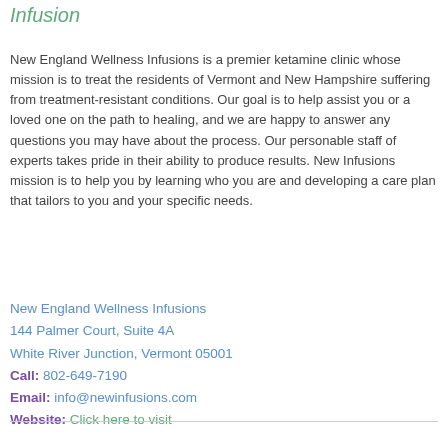Infusion
New England Wellness Infusions is a premier ketamine clinic whose mission is to treat the residents of Vermont and New Hampshire suffering from treatment-resistant conditions. Our goal is to help assist you or a loved one on the path to healing, and we are happy to answer any questions you may have about the process. Our personable staff of experts takes pride in their ability to produce results. New Infusions mission is to help you by learning who you are and developing a care plan that tailors to you and your specific needs.
New England Wellness Infusions
144 Palmer Court, Suite 4A
White River Junction, Vermont 05001
Call: 802-649-7190
Email: info@newinfusions.com
Website: Click here to visit